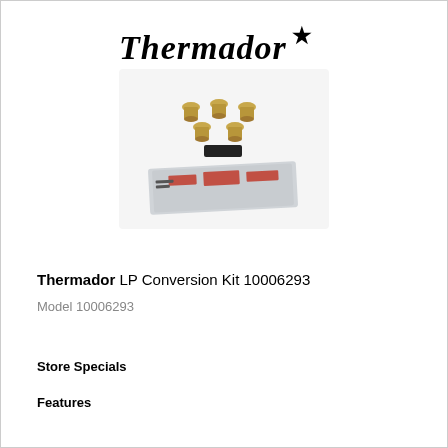[Figure (logo): Thermador brand logo in italic bold serif font with a star symbol]
[Figure (photo): Product photo showing five brass orifice/jet fittings, a small black rectangular piece, and a metallic label sticker with red text — components of the LP Conversion Kit 10006293]
Thermador LP Conversion Kit 10006293
Model 10006293
Store Specials
Features